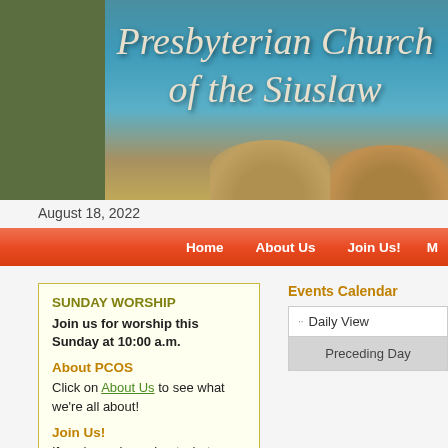[Figure (photo): Header banner with ocean/coastal background photo, olive green left panel, and cursive text 'Presbyterian Church of the Siuslaw' in cream/white italic font]
Presbyterian Church of the Siuslaw
August 18, 2022
Home   About Us   Join Us!   M
SUNDAY WORSHIP
Join us for worship this Sunday at 10:00 a.m.
About PCOS
Click on About Us to see what we're all about!
Join Us!
If you're curious about what a
Events Calendar
Daily View
Preceding Day